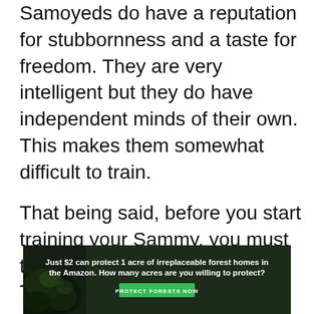Samoyeds do have a reputation for stubbornness and a taste for freedom. They are very intelligent but they do have independent minds of their own. This makes them somewhat difficult to train.
That being said, before you start training your Sammy, you must teach them to respect you. Training a Samoyed requires patience and consistent effort.
[Figure (infographic): Advertisement banner with forest/Amazon background image showing text: 'Just $2 can protect 1 acre of irreplaceable forest homes in the Amazon. How many acres are you willing to protect?' with a green 'PROTECT FORESTS NOW' button.]